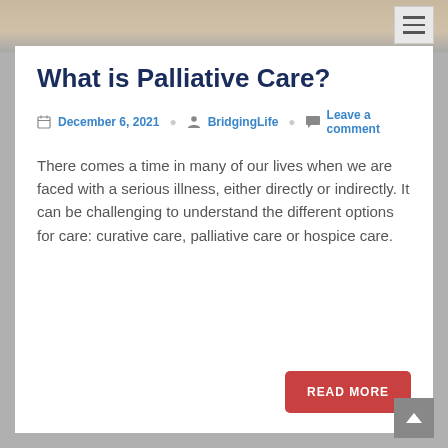[Figure (photo): Top banner image showing partial view of a person, cropped at top of page]
What is Palliative Care?
December 6, 2021  BridgingLife  Leave a comment
There comes a time in many of our lives when we are faced with a serious illness, either directly or indirectly. It can be challenging to understand the different options for care: curative care, palliative care or hospice care.
READ MORE